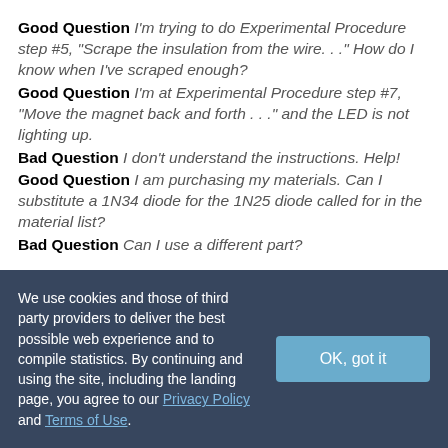Good Question I'm trying to do Experimental Procedure step #5, "Scrape the insulation from the wire. . ." How do I know when I've scraped enough?
Good Question I'm at Experimental Procedure step #7, "Move the magnet back and forth . . ." and the LED is not lighting up.
Bad Question I don't understand the instructions. Help!
Good Question I am purchasing my materials. Can I substitute a 1N34 diode for the 1N25 diode called for in the material list?
Bad Question Can I use a different part?
We use cookies and those of third party providers to deliver the best possible web experience and to compile statistics. By continuing and using the site, including the landing page, you agree to our Privacy Policy and Terms of Use.